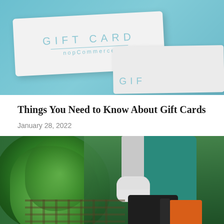[Figure (photo): Photo of nopCommerce gift cards stacked on a light blue background. One card in front reads 'GIFT CARD' and 'nopCommerce', another card partially visible behind it shows 'GIF'.]
Things You Need to Know About Gift Cards
January 28, 2022
[Figure (photo): Photo of a gardener wearing a teal apron and white gloves, using a power tool near green hedges/bushes.]